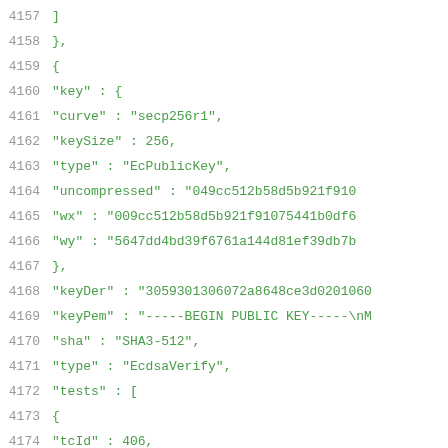4157    ]
4158    },
4159    {
4160        "key" : {
4161            "curve" : "secp256r1",
4162            "keySize" : 256,
4163            "type" : "EcPublicKey",
4164            "uncompressed" : "049cc512b58d5b921f910
4165            "wx" : "009cc512b58d5b921f91075441b0df6
4166            "wy" : "5647dd4bd39f6761a144d81ef39db7b
4167        },
4168        "keyDer" : "3059301306072a8648ce3d020106
4169        "keyPem" : "-----BEGIN PUBLIC KEY-----\nM
4170        "sha" : "SHA3-512",
4171        "type" : "EcdsaVerify",
4172        "tests" : [
4173            {
4174                "tcId" : 406,
4175                "comment" : "edge case for u2",
4176                "msg" : "313233343030",
4177                "sig" : "304502207fffffffffffffffffffffff